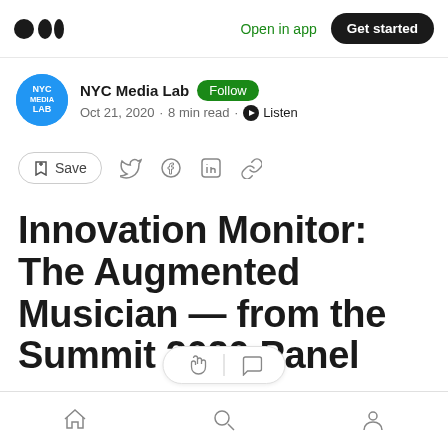Open in app | Get started
NYC Media Lab · Follow · Oct 21, 2020 · 8 min read · Listen
Save (social share icons)
Innovation Monitor: The Augmented Musician — from the Summit 2020 Panel
Home | Search | Profile